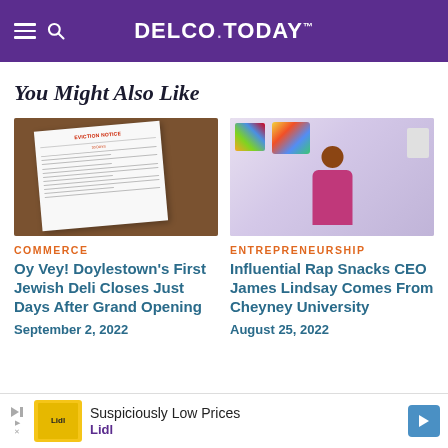DELCO.TODAY
You Might Also Like
[Figure (photo): Eviction notice document on a wooden surface]
COMMERCE
Oy Vey! Doylestown’s First Jewish Deli Closes Just Days After Grand Opening
September 2, 2022
[Figure (photo): Man in pink/magenta blazer sitting at a desk in an office with colorful artwork in the background]
ENTREPRENEURSHIP
Influential Rap Snacks CEO James Lindsay Comes From Cheyney University
August 25, 2022
Suspiciously Low Prices Lidl